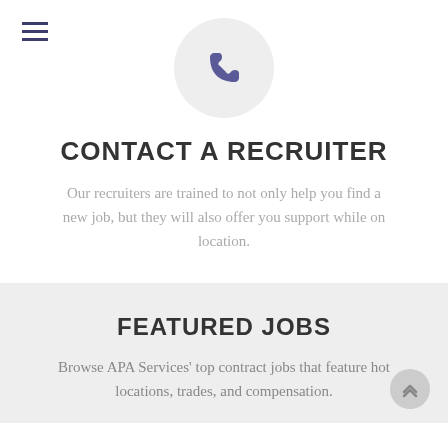[Figure (illustration): Hamburger menu icon (three horizontal lines) in dark navy/purple color, top-left corner]
[Figure (illustration): Phone handset icon in slate-purple color inside a light gray circle, centered at top]
CONTACT A RECRUITER
Our recruiters are trained to not only help you find a new job, but they will also offer you support while on location.
FEATURED JOBS
Browse APA Services' top contract jobs that feature hot locations, trades, and compensation.
[Figure (illustration): Scroll-to-top arrow button (chevron up icon) in a gray circle, bottom-right corner]